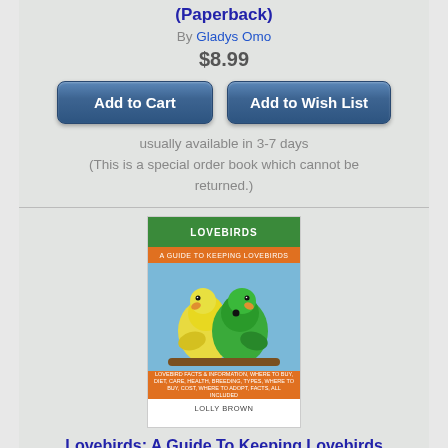(Paperback)
By Gladys Omo
$8.99
Add to Cart
Add to Wish List
usually available in 3-7 days
(This is a special order book which cannot be returned.)
[Figure (photo): Book cover for Lovebirds: A Guide To Keeping Lovebirds, showing two lovebirds (one yellow, one green) perched together, with green top bar and orange accents, author Lolly Brown]
Lovebirds: A Guide To Keeping Lovebirds (Paperback)
By Lolly Brown
$12.97
Add to Cart
Add to Wish List